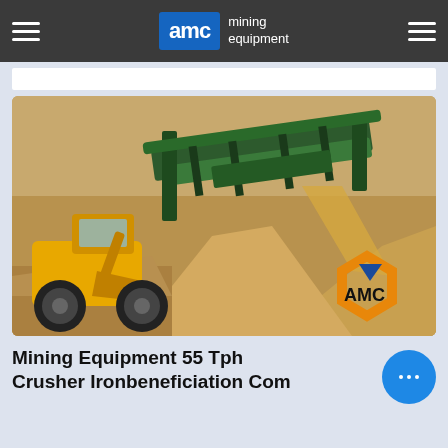AMC mining equipment
[Figure (photo): Mining equipment scene showing a yellow front-loader and large green screening/crushing machine with gravel piles. AMC logo visible in bottom right corner.]
Mining Equipment 55 Tph Crusher Ironbeneficiation Com